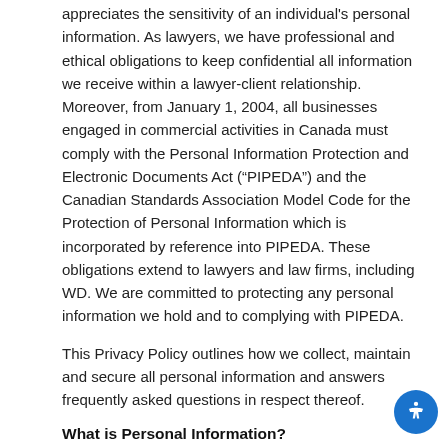appreciates the sensitivity of an individual's personal information. As lawyers, we have professional and ethical obligations to keep confidential all information we receive within a lawyer-client relationship. Moreover, from January 1, 2004, all businesses engaged in commercial activities in Canada must comply with the Personal Information Protection and Electronic Documents Act (“PIPEDA”) and the Canadian Standards Association Model Code for the Protection of Personal Information which is incorporated by reference into PIPEDA. These obligations extend to lawyers and law firms, including WD. We are committed to protecting any personal information we hold and to complying with PIPEDA.
This Privacy Policy outlines how we collect, maintain and secure all personal information and answers frequently asked questions in respect thereof.
What is Personal Information?
“Personal information” means any information about an identifiable individual, that may include, the name, title,